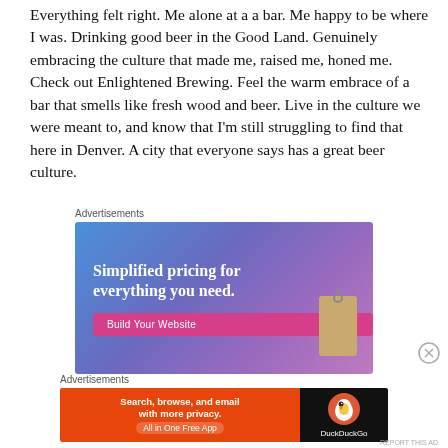Everything felt right. Me alone at a a bar. Me happy to be where I was. Drinking good beer in the Good Land. Genuinely embracing the culture that made me, raised me, honed me.  Check out Enlightened Brewing. Feel the warm embrace of a bar that smells like fresh wood and beer. Live in the culture we were meant to, and know that I'm still struggling to find that here in Denver. A city that everyone says has a great beer culture.
Advertisements
[Figure (illustration): Advertisement banner with gradient blue-to-purple background. Headline reads 'Simplified pricing for everything you need.' with a pink 'Build Your Website' button and a price tag image on the right.]
Advertisements
[Figure (illustration): DuckDuckGo advertisement. Orange section on left reads 'Search, browse, and email with more privacy. All in One Free App'. Black section on right shows DuckDuckGo logo and name.]